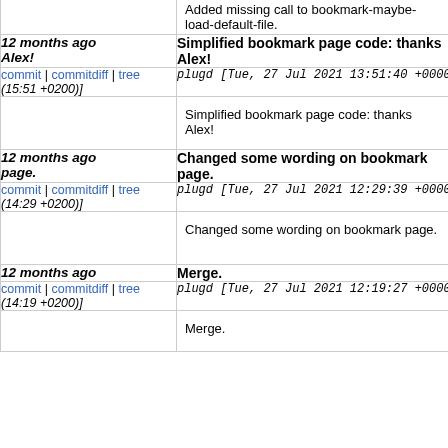Added missing call to bookmark-maybe-load-default-file.
12 months ago Alex!  Simplified bookmark page code: thanks Alex!
commit | commitdiff | tree (15:51 +0200)] plugd [Tue, 27 Jul 2021 13:51:40 +0000 (15:51 +0200)]
Simplified bookmark page code: thanks Alex!
12 months ago Changed some wording on bookmark page.
commit | commitdiff | tree (14:29 +0200)] plugd [Tue, 27 Jul 2021 12:29:39 +0000 (14:29 +0200)]
Changed some wording on bookmark page.
12 months ago Merge.
commit | commitdiff | tree (14:19 +0200)] plugd [Tue, 27 Jul 2021 12:19:27 +0000 (14:19 +0200)]
Merge.